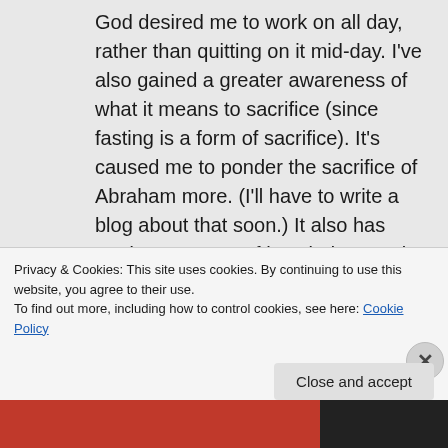God desired me to work on all day, rather than quitting on it mid-day. I've also gained a greater awareness of what it means to sacrifice (since fasting is a form of sacrifice). It's caused me to ponder the sacrifice of Abraham more. (I'll have to write a blog about that soon.) It also has made me aware of how judgmental I can be. When you're sacrificing it's easy to expect others to sacrifice too, but that's force, which is not God's way. So I have
Privacy & Cookies: This site uses cookies. By continuing to use this website, you agree to their use.
To find out more, including how to control cookies, see here: Cookie Policy